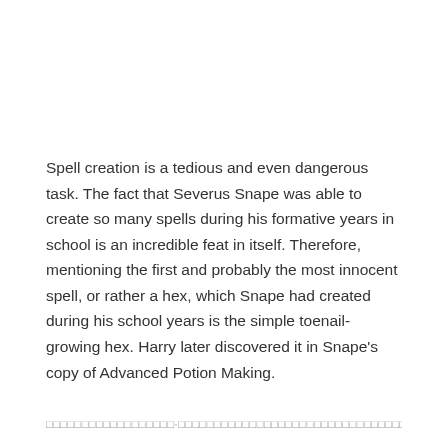Spell creation is a tedious and even dangerous task. The fact that Severus Snape was able to create so many spells during his formative years in school is an incredible feat in itself. Therefore, mentioning the first and probably the most innocent spell, or rather a hex, which Snape had created during his school years is the simple toenail-growing hex. Harry later discovered it in Snape's copy of Advanced Potion Making.
□□□□□□□□□□□□□□□□□□·□□□□□□□□□□□□□□□□□□□□□□□□□□□□□□□□□□□□□□□□□□□□□□□□□□□□□□□□□